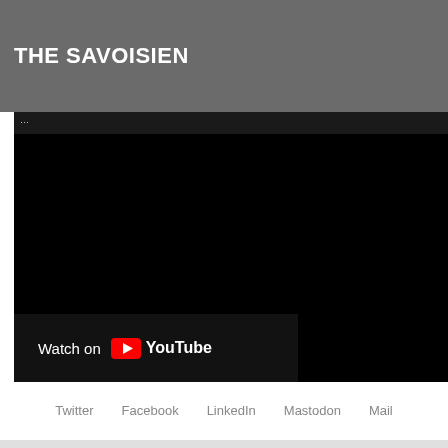THE SAVOISIEN
[Figure (screenshot): Embedded video player showing a black screen with a 'Watch on YouTube' overlay button at the bottom left.]
Twitter   Facebook   LinkedIn   Mastodon   Mail